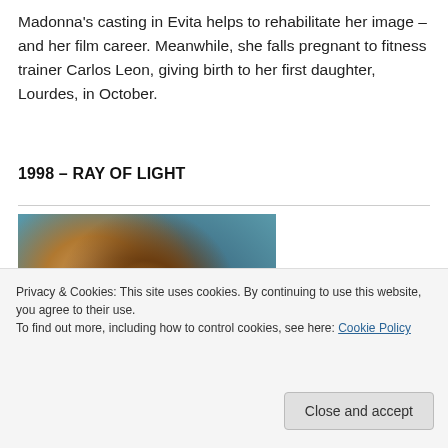Madonna's casting in Evita helps to rehabilitate her image – and her film career. Meanwhile, she falls pregnant to fitness trainer Carlos Leon, giving birth to her first daughter, Lourdes, in October.
1998 – RAY OF LIGHT
[Figure (photo): Close-up photo of a woman (Madonna) with curly brown and gold hair against a teal/blue background, Ray of Light era.]
Privacy & Cookies: This site uses cookies. By continuing to use this website, you agree to their use.
To find out more, including how to control cookies, see here: Cookie Policy
Ray of Light was produced by British musician William